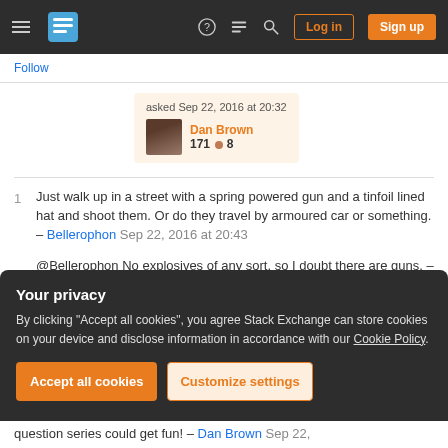Stack Exchange navigation bar with hamburger menu, logo, help, chat, search icons, Log in and Sign up buttons
Follow
asked Sep 22, 2016 at 20:32
Dan Brown
171 ●8
1  Just walk up in a street with a spring powered gun and a tinfoil lined hat and shoot them. Or do they travel by armoured car or something. – Bellerophon Sep 22, 2016 at 20:43
@Bellerophon No explosives of any sort, so I doubt there are guns. – Ranger Sep 22, 2016 at 20:49
Your privacy
By clicking "Accept all cookies", you agree Stack Exchange can store cookies on your device and disclose information in accordance with our Cookie Policy.
Accept all cookies   Customize settings
question series could get fun! – Dan Brown Sep 22,